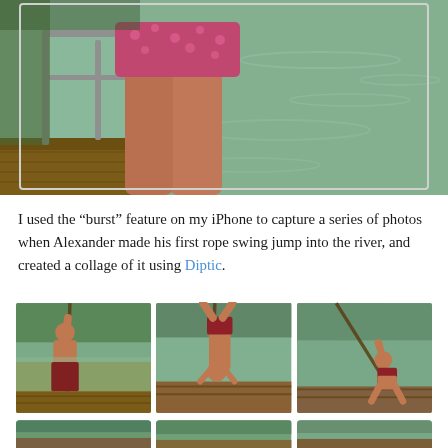[Figure (photo): Close-up photo of a person in a polka-dot bikini bottom standing on a wooden dock near a metal railing, with green river water visible in the background.]
I used the "burst" feature on my iPhone to capture a series of photos when Alexander made his first rope swing jump into the river, and created a collage of it using Diptic.
[Figure (photo): Collage of three photos showing Alexander swinging on a rope over a river: first grabbing the rope standing, then upside down mid-swing, then further along the swing arc. A partial fourth row of photos is visible at the bottom.]